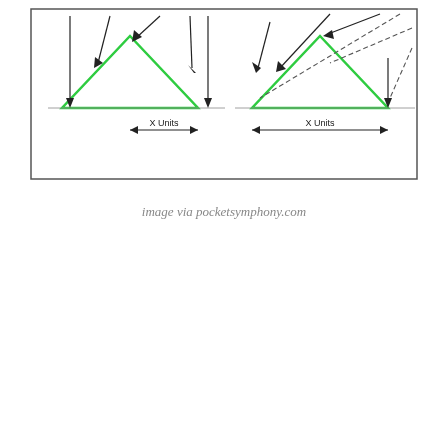[Figure (schematic): Engineering/physics schematic showing two diagrams side by side. Left diagram: a rectangular box with a green-outlined triangle inside, arrows pointing down from above at multiple points, and a horizontal double-headed arrow labeled 'X Units' below. Right diagram: similar but with angled dashed lines entering from upper right, a green-outlined triangle, and a horizontal double-headed arrow labeled 'X Units' below. Both diagrams are enclosed in a large rectangle border.]
image via pocketsymphony.com